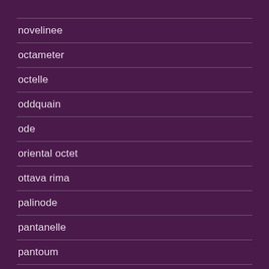novelinee
octameter
octelle
oddquain
ode
oriental octet
ottava rima
palinode
pantanelle
pantoum
piaku